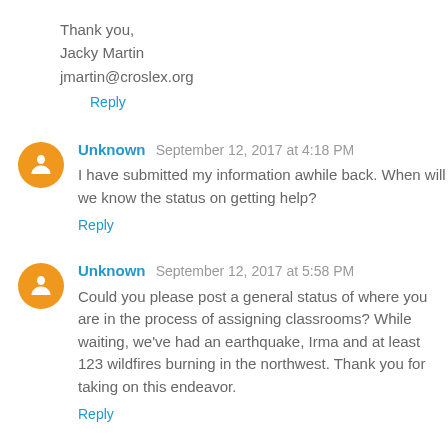Thank you,
Jacky Martin
jmartin@croslex.org
Reply
Unknown  September 12, 2017 at 4:18 PM
I have submitted my information awhile back. When will we know the status on getting help?
Reply
Unknown  September 12, 2017 at 5:58 PM
Could you please post a general status of where you are in the process of assigning classrooms? While waiting, we've had an earthquake, Irma and at least 123 wildfires burning in the northwest. Thank you for taking on this endeavor.
Reply